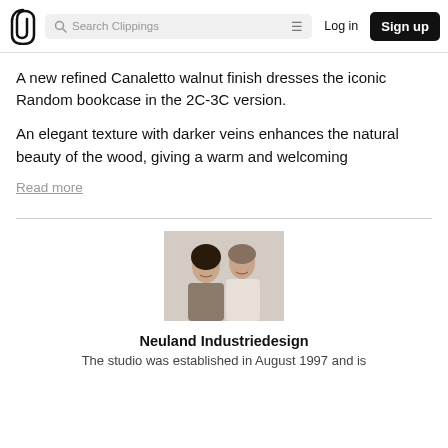Clippings — Search Clippings | Log in | Sign up
A new refined Canaletto walnut finish dresses the iconic Random bookcase in the 2C-3C version.
An elegant texture with darker veins enhances the natural beauty of the wood, giving a warm and welcoming
Read more
[Figure (photo): Portrait photo of a woman and a man, both smiling, against a light background — designers of Neuland Industriedesign]
Neuland Industriedesign
The studio was established in August 1997 and is